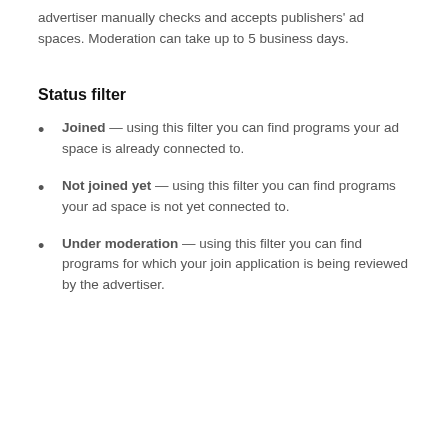advertiser manually checks and accepts publishers' ad spaces. Moderation can take up to 5 business days.
Status filter
Joined — using this filter you can find programs your ad space is already connected to.
Not joined yet — using this filter you can find programs your ad space is not yet connected to.
Under moderation — using this filter you can find programs for which your join application is being reviewed by the advertiser.